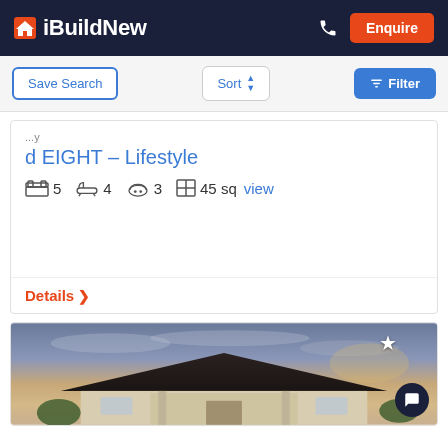iBuildNew — Enquire
Save Search | Sort | Filter
d EIGHT – Lifestyle
5 bedrooms, 4 bathrooms, 3 garage, 45 sq — view
Details >
[Figure (photo): Exterior photo of a single-storey house with a dark hip roof, columns at the entrance, viewed at sunset with a dramatic sky]